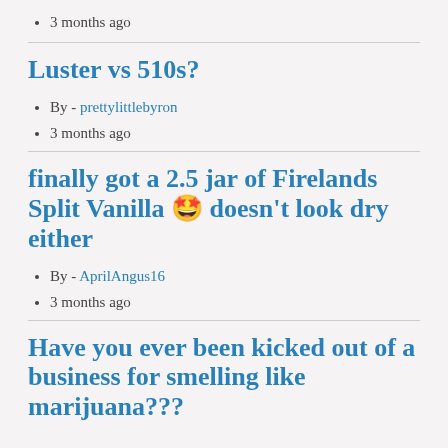3 months ago
Luster vs 510s?
By - prettylittlebyron
3 months ago
finally got a 2.5 jar of Firelands Split Vanilla 🤩 doesn't look dry either
By - AprilAngus16
3 months ago
Have you ever been kicked out of a business for smelling like marijuana???